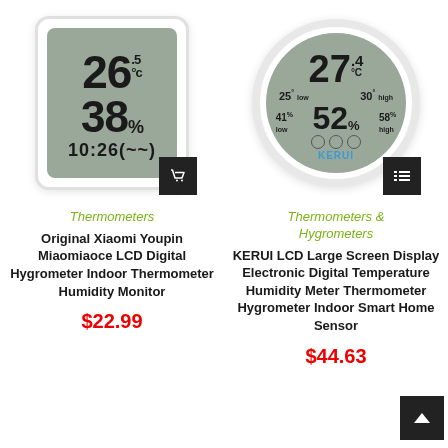[Figure (photo): Xiaomi Youpin Miaomiaoce rectangular LCD digital thermometer hygrometer showing 26.5°C, 38%, 10:26]
[Figure (photo): KERUI round LCD digital thermometer hygrometer showing 27.4°C, 52%, with min/max readings]
Thermometers
Thermometers & Hygrometers
Original Xiaomi Youpin Miaomiaoce LCD Digital Hygrometer Indoor Thermometer Humidity Monitor
KERUI LCD Large Screen Display Electronic Digital Temperature Humidity Meter Thermometer Hygrometer Indoor Smart Home Sensor
$22.99
$44.63